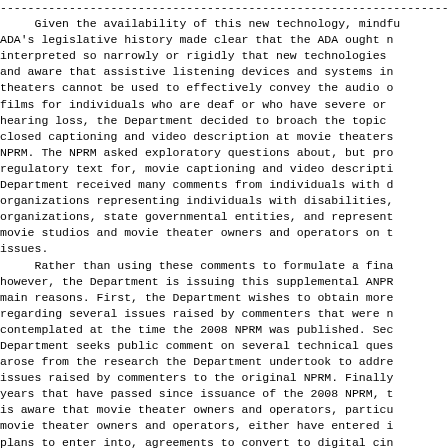----------------------------------------------------------------------
     Given the availability of this new technology, mindfu
ADA's legislative history made clear that the ADA ought n
interpreted so narrowly or rigidly that new technologies
and aware that assistive listening devices and systems in
theaters cannot be used to effectively convey the audio o
films for individuals who are deaf or who have severe or
hearing loss, the Department decided to broach the topic
closed captioning and video description at movie theaters
NPRM. The NPRM asked exploratory questions about, but pro
regulatory text for, movie captioning and video descripti
Department received many comments from individuals with d
organizations representing individuals with disabilities,
organizations, state governmental entities, and represent
movie studios and movie theater owners and operators on t
issues.
     Rather than using these comments to formulate a fina
however, the Department is issuing this supplemental ANPR
main reasons. First, the Department wishes to obtain more
regarding several issues raised by commenters that were n
contemplated at the time the 2008 NPRM was published. Sec
Department seeks public comment on several technical ques
arose from the research the Department undertook to addre
issues raised by commenters to the original NPRM. Finally
years that have passed since issuance of the 2008 NPRM, t
is aware that movie theater owners and operators, particu
movie theater owners and operators, either have entered i
plans to enter into, agreements to convert to digital cin
during this same time period, the United States' economy